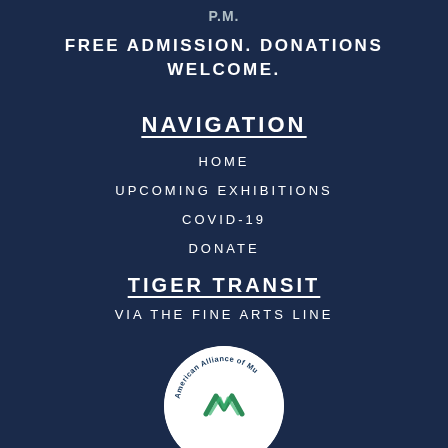P.M.
FREE ADMISSION. DONATIONS WELCOME.
NAVIGATION
HOME
UPCOMING EXHIBITIONS
COVID-19
DONATE
TIGER TRANSIT
VIA THE FINE ARTS LINE
[Figure (logo): American Alliance of Museums circular logo, partially visible at bottom of page]